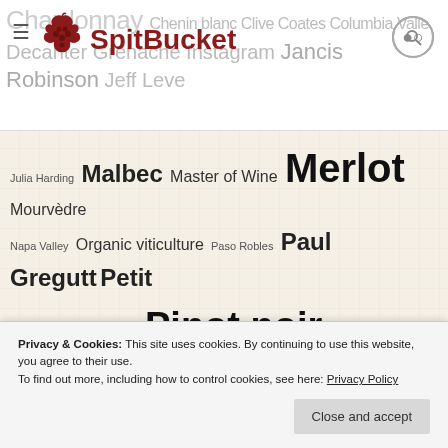[Figure (logo): SpitBucket wine blog logo with grape cluster icon and site name in dark red, with hamburger menu and search button]
[Figure (infographic): Tag cloud on a linen-textured background with wine-related terms in varying sizes: Julia Harding, Malbec, Master of Wine, Merlot, Mourvèdre, Napa Valley, Organic viticulture, Paso Robles, Paul Gregutt, Petit Verdot, Pinot gris, Pinot noir, Red Mountain, Riesling, Rosé Wine, Sauvignon blanc, Sparkling wine, Stag's Leap Wine Cellars, Sustainable Viticulture, Syrah, Tempranillo, Viognier, Walla Walla, Washington Wines and Wineries, Wine Advocate, Wine Enthusiast, Wine Grapes, Wine Searcher, Wine Spectator]
Privacy & Cookies: This site uses cookies. By continuing to use this website, you agree to their use. To find out more, including how to control cookies, see here: Privacy Policy
Close and accept